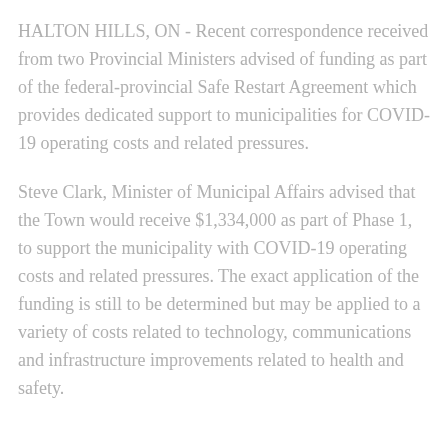HALTON HILLS, ON - Recent correspondence received from two Provincial Ministers advised of funding as part of the federal-provincial Safe Restart Agreement which provides dedicated support to municipalities for COVID-19 operating costs and related pressures.
Steve Clark, Minister of Municipal Affairs advised that the Town would receive $1,334,000 as part of Phase 1, to support the municipality with COVID-19 operating costs and related pressures. The exact application of the funding is still to be determined but may be applied to a variety of costs related to technology, communications and infrastructure improvements related to health and safety.